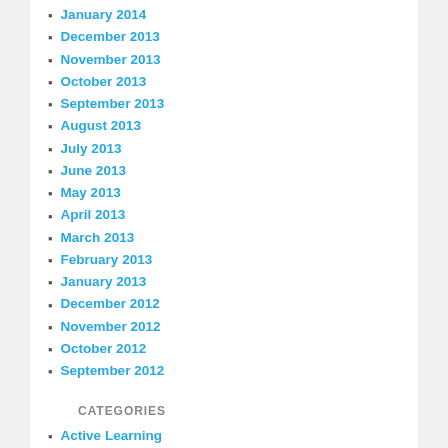January 2014
December 2013
November 2013
October 2013
September 2013
August 2013
July 2013
June 2013
May 2013
April 2013
March 2013
February 2013
January 2013
December 2012
November 2012
October 2012
September 2012
CATEGORIES
Active Learning
Assessment